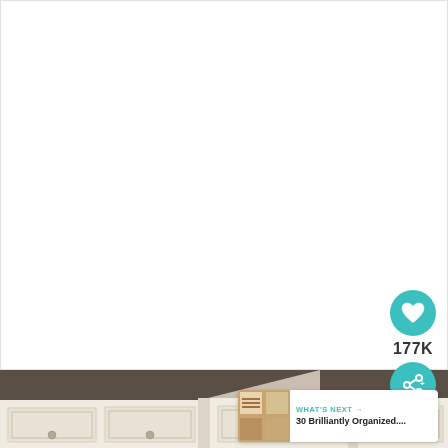[Figure (photo): White/cream built-in cabinets with raised panel doors and small round knobs, photographed at corner junction showing ceiling angle. Upper portion of image is blank white space (likely cropped webpage content area).]
177K
WHAT'S NEXT →
30 Brilliantly Organized....